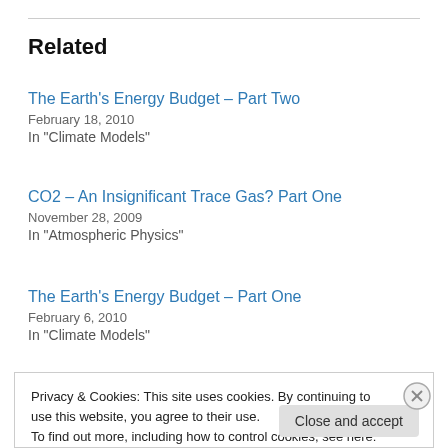Related
The Earth's Energy Budget – Part Two
February 18, 2010
In "Climate Models"
CO2 – An Insignificant Trace Gas? Part One
November 28, 2009
In "Atmospheric Physics"
The Earth's Energy Budget – Part One
February 6, 2010
In "Climate Models"
Privacy & Cookies: This site uses cookies. By continuing to use this website, you agree to their use. To find out more, including how to control cookies, see here: Cookie Policy
[Close and accept button]